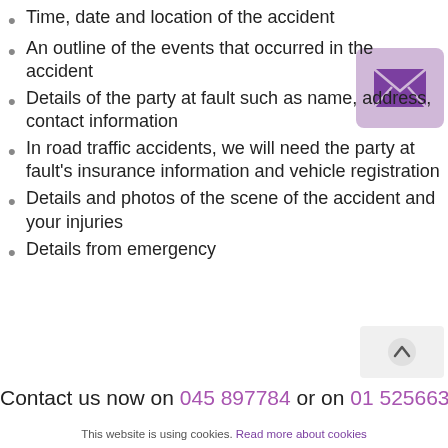Time, date and location of the accident
An outline of the events that occurred in the accident
Details of the party at fault such as name, address, contact information
In road traffic accidents, we will need the party at fault’s insurance information and vehicle registration
Details and photos of the scene of the accident and your injuries
Details from emergency
[Figure (illustration): Purple envelope/email icon on a light purple square background]
Contact us now on 045 897784 or on 01 5256637
This website is using cookies. Read more about cookies